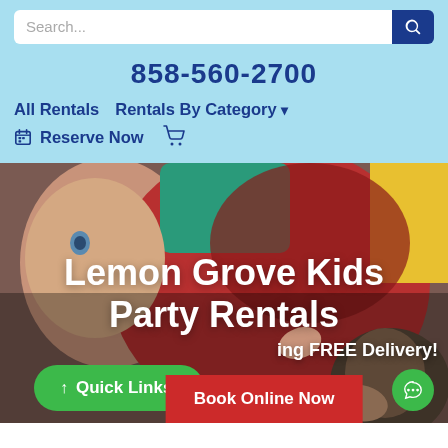Search...
858-560-2700
All Rentals
Rentals By Category
Reserve Now
[Figure (photo): Children playing on colorful inflatable party rentals, smiling at camera]
Lemon Grove Kids Party Rentals
Featuring FREE Delivery!
Quick Links
Book Online Now